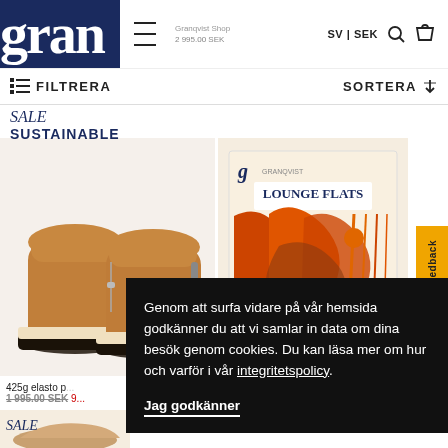gran | SV | SEK
FILTRERA | SORTERA
SALE
SUSTAINABLE
[Figure (photo): Tan suede platform ankle boots with black sole, side zipper, shown as a pair]
[Figure (photo): Magazine or book cover with orange abstract art and text 'LOUNGE FLATS' with 'g' branding]
425g elasto p...
1 995.00 SEK 9...
SALE
[Figure (photo): Partial view of tan shoes at bottom of page]
Genom att surfa vidare på vår hemsida godkänner du att vi samlar in data om dina besök genom cookies. Du kan läsa mer om hur och varför i vår integritetspolicy.

Jag godkänner